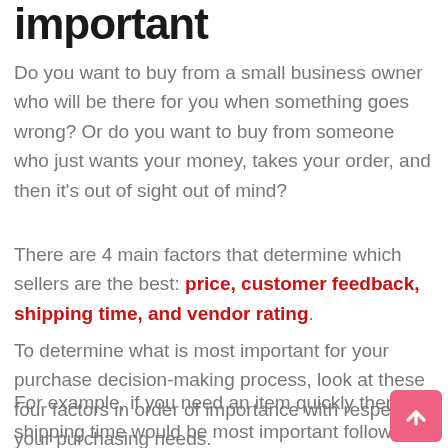important
Do you want to buy from a small business owner who will be there for you when something goes wrong? Or do you want to buy from someone who just wants your money, takes your order, and then it's out of sight out of mind?
There are 4 main factors that determine which sellers are the best: price, customer feedback, shipping time, and vendor rating.
To determine what is most important for your purchase decision-making process, look at these four factors in order of importance with respect to your purchasing needs.
For example, if you need an item quickly then shipping time would be most important followed by vendor rating then customer feedback then price